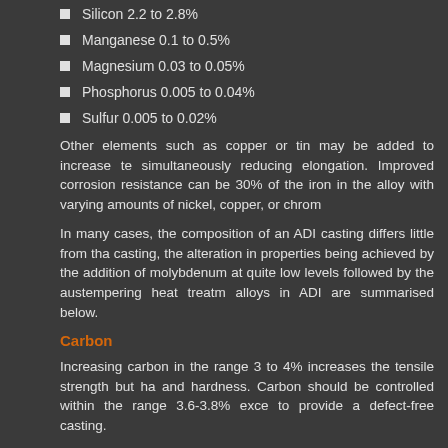Silicon 2.2 to 2.8%
Manganese 0.1 to 0.5%
Magnesium 0.03 to 0.05%
Phosphorus 0.005 to 0.04%
Sulfur 0.005 to 0.02%
Other elements such as copper or tin may be added to increase te simultaneously reducing elongation. Improved corrosion resistance can be 30% of the iron in the alloy with varying amounts of nickel, copper, or chrom
In many cases, the composition of an ADI casting differs little from tha casting, the alteration in properties being achieved by the addition of molybdenum at quite low levels followed by the austempering heat treatm alloys in ADI are summarised below.
Carbon
Increasing carbon in the range 3 to 4% increases the tensile strength but ha and hardness. Carbon should be controlled within the range 3.6-3.8% exce to provide a defect-free casting.
Silicon
Silicon is one of the most important elements in ADI because it promotes g solubility of carbon in austenite, increases the eutectoid temperature, and carbide. Increasing the silicon content increases the impact strength of A transition temperature. Silicon should be controlled closely within the range